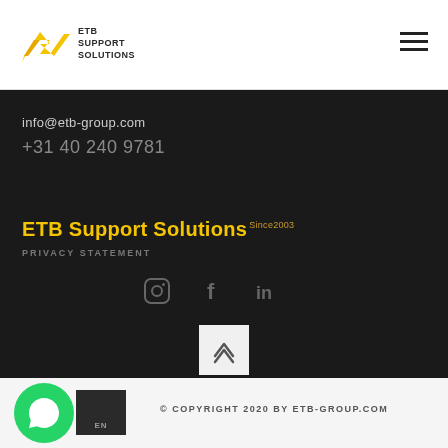ETB Support Solutions
info@etb-group.com
+31 40 240 9781
ETB Support Solutions Since2003
PRIVACY STATEMENT
[Figure (infographic): Social media icons: Instagram, Facebook, LinkedIn]
[Figure (infographic): Scroll-to-top button with double chevron up arrow]
[Figure (logo): WhatsApp icon button (green circle with phone icon)]
© COPYRIGHT 2020 BY ETB-GROUP.COM